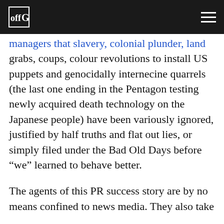offG [logo]
managers that slavery, colonial plunder, land grabs, coups, colour revolutions to install US puppets and genocidally internecine quarrels (the last one ending in the Pentagon testing newly acquired death technology on the Japanese people) have been variously ignored, justified by half truths and flat out lies, or simply filed under the Bad Old Days before “we” learned to behave better.

The agents of this PR success story are by no means confined to news media. They also take